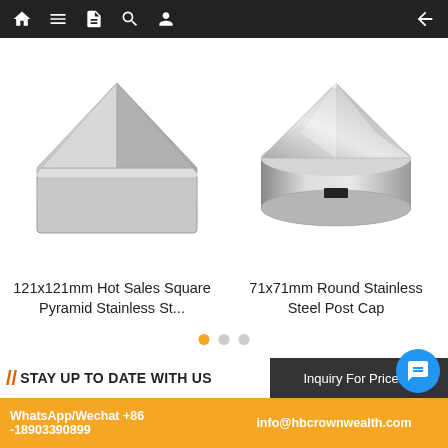Navigation bar with home, menu, document, search, profile, and back icons
[Figure (photo): 121x121mm square pyramid stainless steel post cap, metallic silver, viewed from above at an angle]
[Figure (photo): 71x71mm round stainless steel post cap with conical top, metallic silver, viewed from the side]
121x121mm Hot Sales Square Pyramid Stainless St...
71x71mm Round Stainless Steel Post Cap
// STAY UP TO DATE WITH US
Inquiry For Pricelist
WhatsApp/Wechat +86 -18903390899
info@hbcrownwealth.com